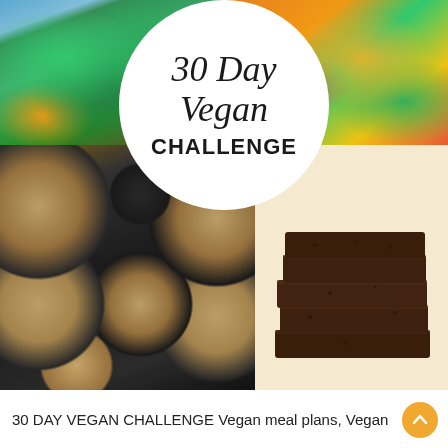[Figure (photo): Collage of four food photos: top-left kale salad in bowl, top-right chickpea curry, bottom-left banana oat muffins in muffin tin, bottom-right stacked dark chocolate brownies. White circular overlay in center with title text.]
30 Day Vegan CHALLENGE
30 DAY VEGAN CHALLENGE Vegan meal plans, Vegan